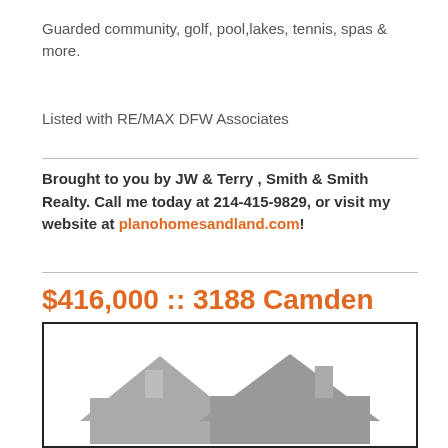Guarded community, golf, pool,lakes, tennis, spas & more.
Listed with RE/MAX DFW Associates
Brought to you by JW & Terry , Smith & Smith Realty. Call me today at 214-415-9829, or visit my website at planohomesandland.com!
$416,000 :: 3188 Camden Bluff Road, Frisco TX, 75034
[Figure (illustration): House silhouette graphic in gray showing roof lines and chimney]